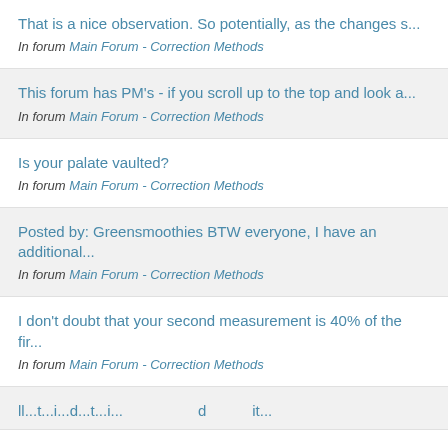That is a nice observation. So potentially, as the changes s...
In forum Main Forum - Correction Methods
This forum has PM's - if you scroll up to the top and look a...
In forum Main Forum - Correction Methods
Is your palate vaulted?
In forum Main Forum - Correction Methods
Posted by: Greensmoothies BTW everyone, I have an additional...
In forum Main Forum - Correction Methods
I don't doubt that your second measurement is 40% of the fir...
In forum Main Forum - Correction Methods
ll...t...i...t...d...t...t...i...t...lll...l...t..........d...........it...